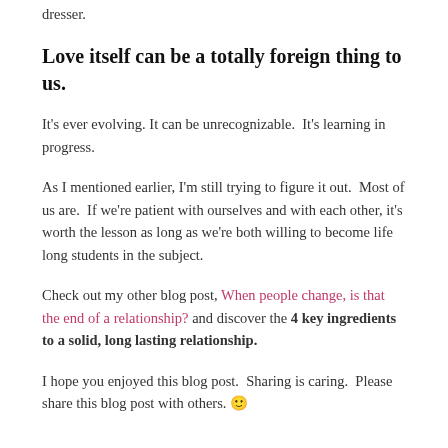spider that was in the shower with you, or when you find your favorite holey shorts in the trash and a brand new pair in your dresser.
Love itself can be a totally foreign thing to us.
It's ever evolving. It can be unrecognizable.  It's learning in progress.
As I mentioned earlier, I'm still trying to figure it out.  Most of us are.  If we're patient with ourselves and with each other, it's worth the lesson as long as we're both willing to become life long students in the subject.
Check out my other blog post, When people change, is that the end of a relationship? and discover the 4 key ingredients to a solid, long lasting relationship.
I hope you enjoyed this blog post.  Sharing is caring.  Please share this blog post with others. 🙂